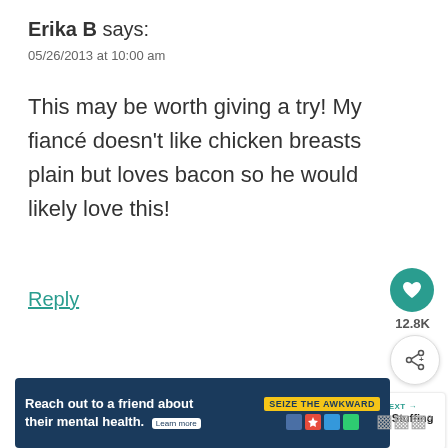Erika B says:
05/26/2013 at 10:00 am
This may be worth giving a try! My fiancé doesn't like chicken breasts plain but loves bacon so he would likely love this!
Reply
12.8K
ivy pluchinsky says:
06/08/2013 at 6:05 pm
[Figure (infographic): WHAT'S NEXT banner with Chicken Stuffing Bake and a food image thumbnail]
[Figure (infographic): Advertisement banner: Reach out to a friend about their mental health. Learn more. SEIZE THE AWKWARD.]